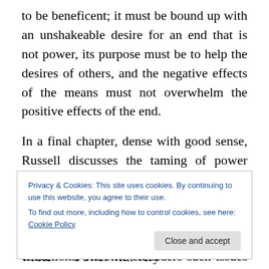to be beneficent; it must be bound up with an unshakeable desire for an end that is not power, its purpose must be to help the desires of others, and the negative effects of the means must not overwhelm the positive effects of the end.
In a final chapter, dense with good sense, Russell discusses the taming of power which he divides into four sections based on the conditions required; political conditions, economic conditions, propaganda conditions and psychological conditions. Here he considers such issues as diverse as how to overcome the flaws of
Privacy & Cookies: This site uses cookies. By continuing to use this website, you agree to their use.
To find out more, including how to control cookies, see here: Cookie Policy
Russell wrote Power in a short amount of time with very